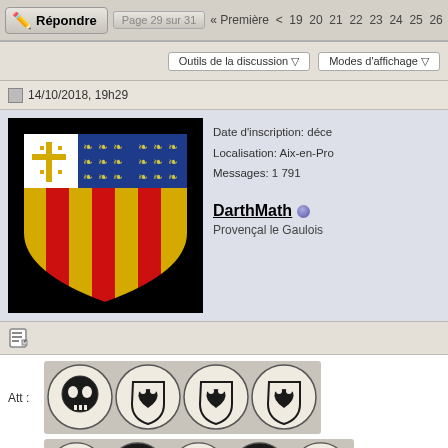Répondre | Page 29 sur 31 « Première < 19 20 21 22 23 24 25 26
Outils de la discussion ▽   Modes d'affichage ▽
14/10/2018, 19h29
[Figure (illustration): Coat of arms / heraldic shield: upper-left quarter white with gold Jerusalem cross, upper-middle and upper-right quarters blue with gold fleur-de-lis pattern, lower portion gold and red vertical stripes (arms of Provence/Anjou)]
Date d'inscription: déce
Localisation: Aix-en-Pro
Messages: 1 791
DarthMath
Provençal le Gaulois
[Figure (illustration): Edit/reply icon (pencil on notepad)]
Att :
[Figure (illustration): Four game tokens in a row: skull token, bear shield token, bear shield token, bear shield token]
Def :
[Figure (illustration): Five game tokens in a row: skull token, helmeted figure token, bear shield token, helmeted figure token, skull token]